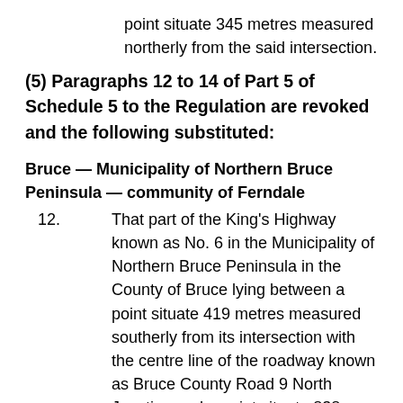point situate 345 metres measured northerly from the said intersection.
(5) Paragraphs 12 to 14 of Part 5 of Schedule 5 to the Regulation are revoked and the following substituted:
Bruce — Municipality of Northern Bruce Peninsula — community of Ferndale
12.  That part of the King's Highway known as No. 6 in the Municipality of Northern Bruce Peninsula in the County of Bruce lying between a point situate 419 metres measured southerly from its intersection with the centre line of the roadway known as Bruce County Road 9 North Junction and a point situate 838 metres measured